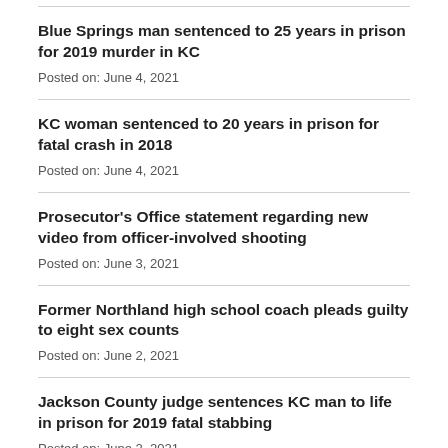Blue Springs man sentenced to 25 years in prison for 2019 murder in KC
Posted on: June 4, 2021
KC woman sentenced to 20 years in prison for fatal crash in 2018
Posted on: June 4, 2021
Prosecutor's Office statement regarding new video from officer-involved shooting
Posted on: June 3, 2021
Former Northland high school coach pleads guilty to eight sex counts
Posted on: June 2, 2021
Jackson County judge sentences KC man to life in prison for 2019 fatal stabbing
Posted on: June 2, 2021